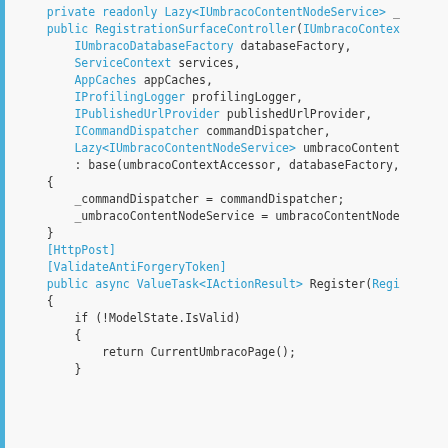[Figure (screenshot): A screenshot of C# source code showing a RegistrationSurfaceController constructor and an HttpPost Register method with code displayed in a code editor with syntax highlighting.]